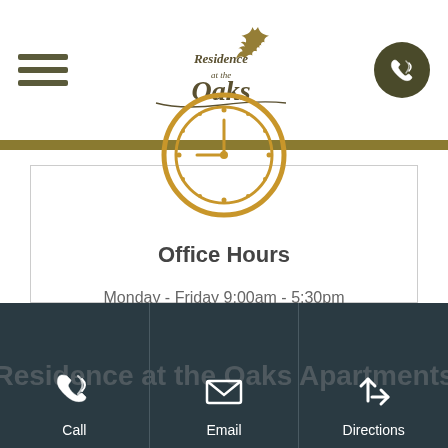[Figure (logo): Residence at the Oaks logo with maple leaf]
[Figure (illustration): Gold clock icon showing office hours]
Office Hours
Monday - Friday 9:00am - 5:30pm
Saturday Closed
Sunday Closed
[Figure (infographic): Footer with Call, Email, Directions icons and background text 'Residence at the Oaks Apartments']